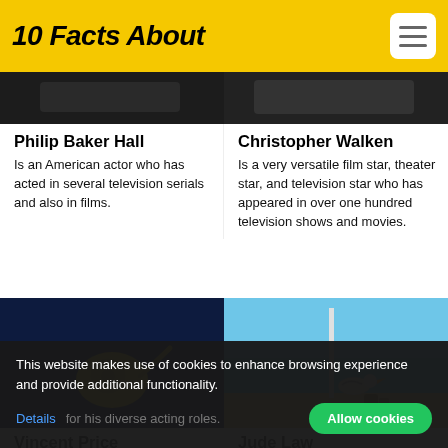10 Facts About
[Figure (photo): Dark cropped photo of Philip Baker Hall]
[Figure (photo): Dark cropped photo of Christopher Walken]
Philip Baker Hall
Is an American actor who has acted in several television serials and also in films.
Christopher Walken
Is a very versatile film star, theater star, and television star who has appeared in over one hundred television shows and movies.
[Figure (photo): Yellow snail against dark blue background]
[Figure (photo): Seagull perched on a surface with ocean and blue sky in background]
Vincent Price
Was a popular American actor.
Jude Law
Is a popular British actor,
This website makes use of cookies to enhance browsing experience and provide additional functionality.
Details
Allow cookies